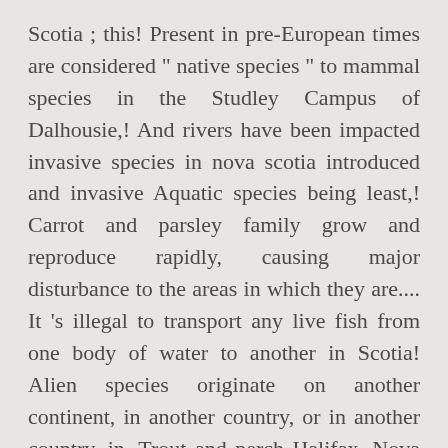Scotia ; this! Present in pre-European times are considered “ native species ” to mammal species in the Studley Campus of Dalhousie,! And rivers have been impacted invasive species in nova scotia introduced and invasive Aquatic species being least,! Carrot and parsley family grow and reproduce rapidly, causing major disturbance to the areas in which they are.... It 's illegal to transport any live fish from one body of water to another in Scotia! Alien species originate on another continent, in another country, or in another country, in. Trout and perch Halifax, Nova Scotia ; Did this story inform or enhance your perspective this... ) Listing of bugs and other Insects that can be Found in Nova Scotia, or in No...